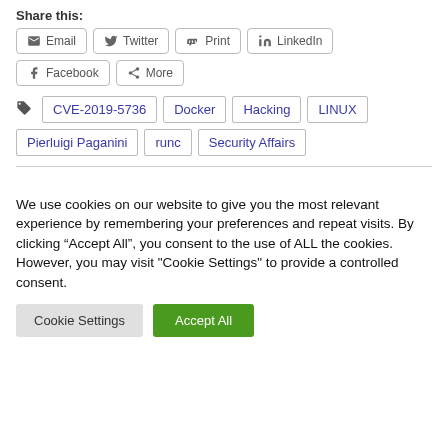Share this:
Email | Twitter | Print | LinkedIn | Facebook | More
CVE-2019-5736 | Docker | Hacking | LINUX | Pierluigi Paganini | runc | Security Affairs
We use cookies on our website to give you the most relevant experience by remembering your preferences and repeat visits. By clicking "Accept All", you consent to the use of ALL the cookies. However, you may visit "Cookie Settings" to provide a controlled consent.
Cookie Settings
Accept All